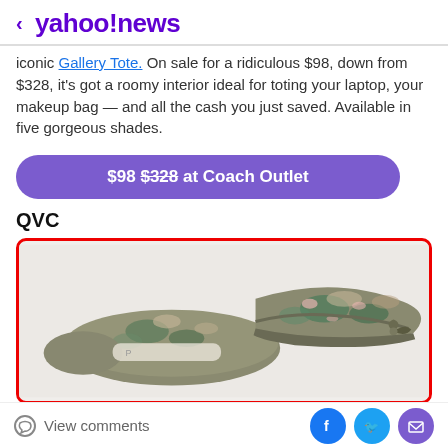< yahoo!news
iconic Gallery Tote. On sale for a ridiculous $98, down from $328, it's got a roomy interior ideal for toting your laptop, your makeup bag — and all the cash you just saved. Available in five gorgeous shades.
$98 $328 at Coach Outlet
QVC
[Figure (photo): Photo of two camouflage-patterned ballet flats with bow detail, shown from above on a light background, inside a red-bordered box.]
View comments